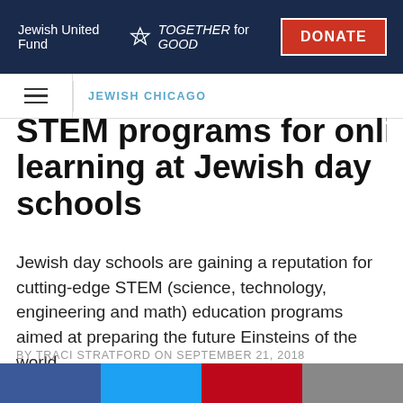Jewish United Fund  TOGETHER for GOOD | DONATE
JEWISH CHICAGO
STEM programs — learning at Jewish day schools
Jewish day schools are gaining a reputation for cutting-edge STEM (science, technology, engineering and math) education programs aimed at preparing the future Einsteins of the world.
BY TRACI STRATFORD ON SEPTEMBER 21, 2018